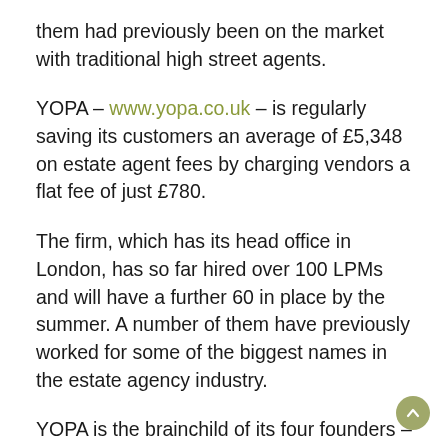them had previously been on the market with traditional high street agents.
YOPA – www.yopa.co.uk – is regularly saving its customers an average of £5,348 on estate agent fees by charging vendors a flat fee of just £780.
The firm, which has its head office in London, has so far hired over 100 LPMs and will have a further 60 in place by the summer. A number of them have previously worked for some of the biggest names in the estate agency industry.
YOPA is the brainchild of its four founders – Joint Managing Directors Daniel Attia and